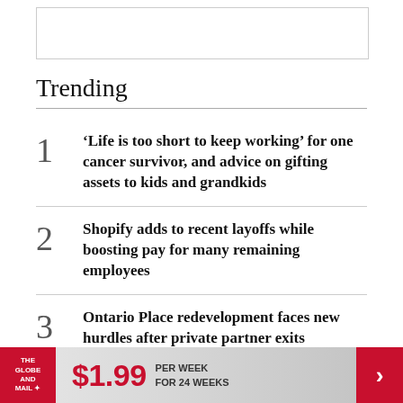[Figure (other): Empty placeholder box at top of page]
Trending
‘Life is too short to keep working’ for one cancer survivor, and advice on gifting assets to kids and grandkids
Shopify adds to recent layoffs while boosting pay for many remaining employees
Ontario Place redevelopment faces new hurdles after private partner exits
THE GLOBE AND MAIL $1.99 PER WEEK FOR 24 WEEKS